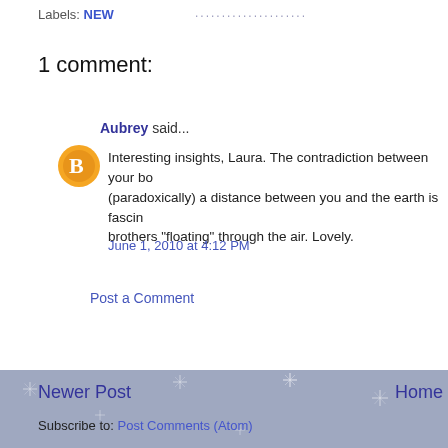Labels: NEW
1 comment:
Aubrey said...
Interesting insights, Laura. The contradiction between your bo(dy being) (paradoxically) a distance between you and the earth is fasci(nating). brothers "floating" through the air. Lovely.
June 1, 2010 at 4:12 PM
Post a Comment
Newer Post
Home
Subscribe to: Post Comments (Atom)